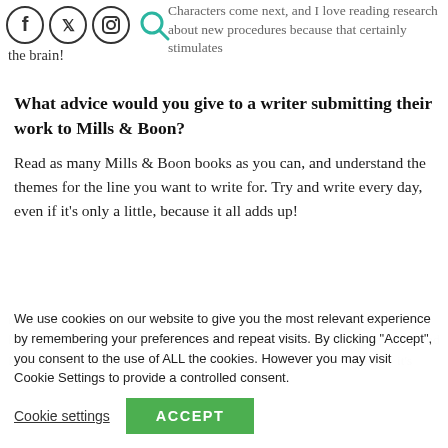Characters come next, and I love reading research about new procedures because that certainly stimulates the brain!
What advice would you give to a writer submitting their work to Mills & Boon?
Read as many Mills & Boon books as you can, and understand the themes for the line you want to write for. Try and write every day, even if it's only a little, because it all adds up!
We use cookies on our website to give you the most relevant experience by remembering your preferences and repeat visits. By clicking “Accept”, you consent to the use of ALL the cookies. However you may visit Cookie Settings to provide a controlled consent.